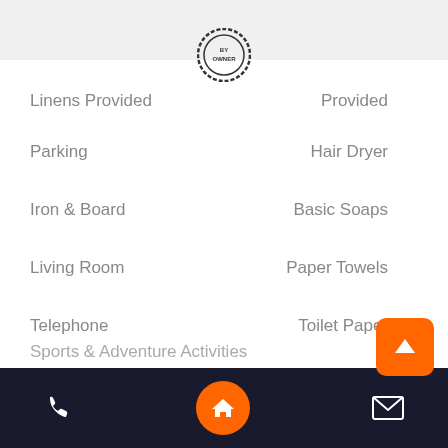[Figure (logo): Round stamp/seal logo with text 'BY OWNER']
Linens Provided
Provided
Parking
Hair Dryer
Iron & Board
Basic Soaps
Living Room
Paper Towels
Telephone
Toilet Paper
Wireless Internet
Satellite or Cable
Washer & Dryer
Heater
Children Welcome
Living Area
Central heating
Parking space
Stereo system
Sports & Adventure Activities
Navigation bar with phone, home, and email icons